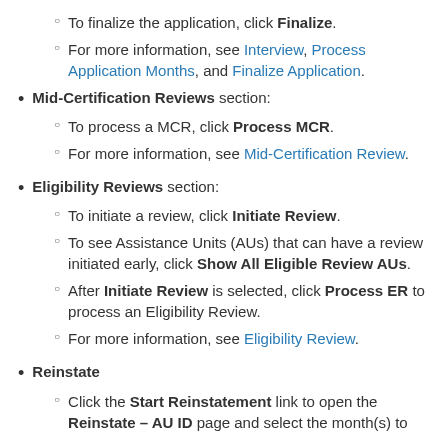To finalize the application, click Finalize.
For more information, see Interview, Process Application Months, and Finalize Application.
Mid-Certification Reviews section:
To process a MCR, click Process MCR.
For more information, see Mid-Certification Review.
Eligibility Reviews section:
To initiate a review, click Initiate Review.
To see Assistance Units (AUs) that can have a review initiated early, click Show All Eligible Review AUs.
After Initiate Review is selected, click Process ER to process an Eligibility Review.
For more information, see Eligibility Review.
Reinstate
Click the Start Reinstatement link to open the Reinstate – AU ID page and select the month(s) to